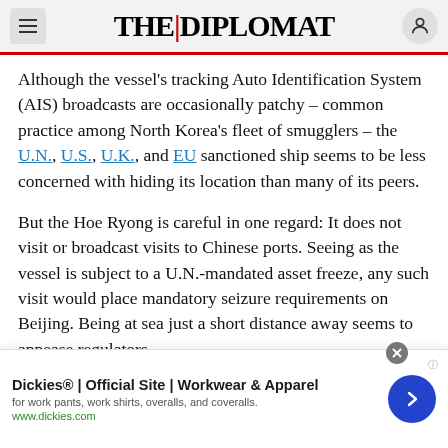THE DIPLOMAT
Although the vessel’s tracking Auto Identification System (AIS) broadcasts are occasionally patchy – common practice among North Korea’s fleet of smugglers – the U.N., U.S., U.K., and EU sanctioned ship seems to be less concerned with hiding its location than many of its peers.
But the Hoe Ryong is careful in one regard: It does not visit or broadcast visits to Chinese ports. Seeing as the vessel is subject to a U.N.-mandated asset freeze, any such visit would place mandatory seizure requirements on Beijing. Being at sea just a short distance away seems to appease regulators
[Figure (other): Advertisement banner for Dickies Official Site - Workwear & Apparel. Text: 'Dickies® | Official Site | Workwear & Apparel', 'for work pants, work shirts, overalls, and coveralls.', 'www.dickies.com'. Dark blue circular arrow button on the right.]